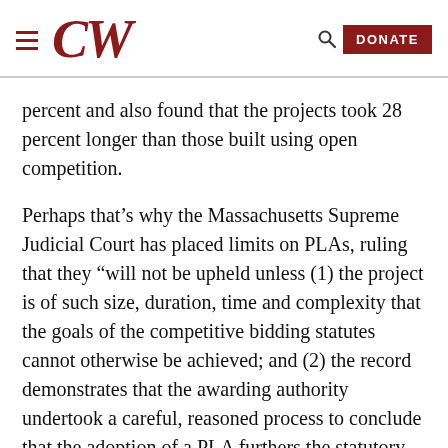CW | DONATE
percent and also found that the projects took 28 percent longer than those built using open competition.
Perhaps that’s why the Massachusetts Supreme Judicial Court has placed limits on PLAs, ruling that they “will not be upheld unless (1) the project is of such size, duration, time and complexity that the goals of the competitive bidding statutes cannot otherwise be achieved; and (2) the record demonstrates that the awarding authority undertook a careful, reasoned process to conclude that the adoption of a PLA furthers the statutory goals.”